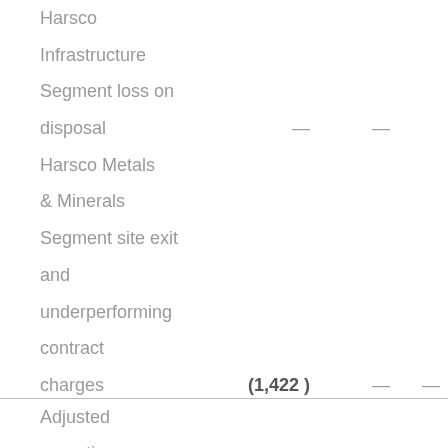| Harsco Infrastructure Segment loss on disposal | — | — |  |
| Harsco Metals & Minerals Segment site exit and underperforming contract charges | (1,422 ) | — | — |
| Adjusted operating |  |  |  |